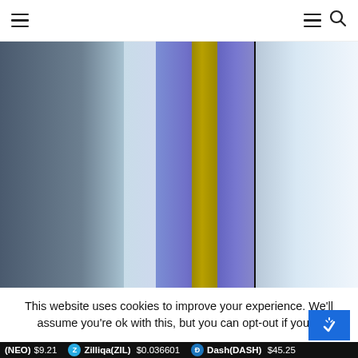☰  ☰ 🔍
[Figure (illustration): Abstract vertical color bands with gradients: dark grey-blue on left fading to light blue, then purple-blue gradient, central narrow gold/olive yellow band, purple-blue band, thin black line, then light blue to white gradient on right]
This website uses cookies to improve your experience. We'll assume you're ok with this, but you can opt-out if you w
(NEO) $9.21  Zilliqa(ZIL) $0.036601  Dash(DASH) $45.25